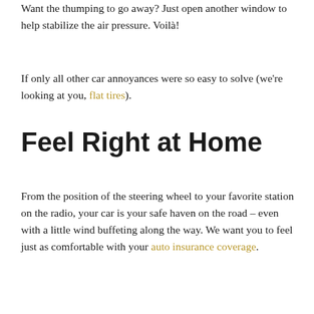Want the thumping to go away? Just open another window to help stabilize the air pressure. Voilà!
If only all other car annoyances were so easy to solve (we're looking at you, flat tires).
Feel Right at Home
From the position of the steering wheel to your favorite station on the radio, your car is your safe haven on the road – even with a little wind buffeting along the way. We want you to feel just as comfortable with your auto insurance coverage.